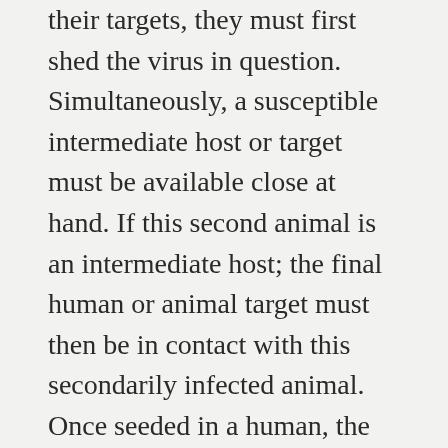their targets, they must first shed the virus in question. Simultaneously, a susceptible intermediate host or target must be available close at hand. If this second animal is an intermediate host; the final human or animal target must then be in contact with this secondarily infected animal. Once seeded in a human, the virus must then set up an infection where it is expelled in body excretions in significant quantities in order for it to become a contagion. That is four steps in the schema already and four steps that must align simultaneously. Numbers are critical at every step — significant numbers of